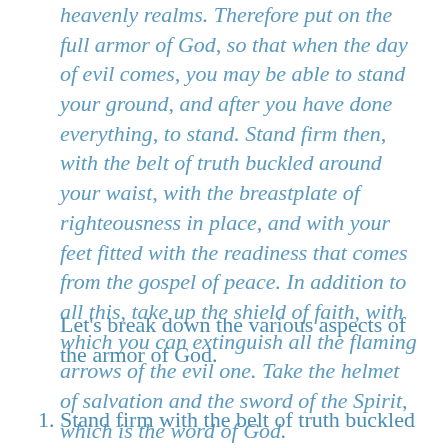heavenly realms. Therefore put on the full armor of God, so that when the day of evil comes, you may be able to stand your ground, and after you have done everything, to stand. Stand firm then, with the belt of truth buckled around your waist, with the breastplate of righteousness in place, and with your feet fitted with the readiness that comes from the gospel of peace. In addition to all this, take up the shield of faith, with which you can extinguish all the flaming arrows of the evil one. Take the helmet of salvation and the sword of the Spirit, which is the word of God.
Let's break down the various aspects of the armor of God.
1. Stand firm with the belt of truth buckled